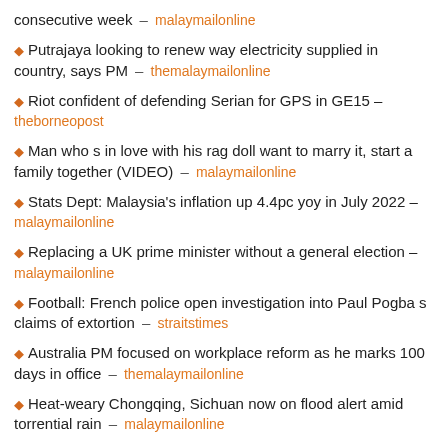consecutive week – malaymailonline
Putrajaya looking to renew way electricity supplied in country, says PM – themalaymailonline
Riot confident of defending Serian for GPS in GE15 – theborneopost
Man who s in love with his rag doll want to marry it, start a family together (VIDEO) – malaymailonline
Stats Dept: Malaysia's inflation up 4.4pc yoy in July 2022 – malaymailonline
Replacing a UK prime minister without a general election – malaymailonline
Football: French police open investigation into Paul Pogba s claims of extortion – straitstimes
Australia PM focused on workplace reform as he marks 100 days in office – themalaymailonline
Heat-weary Chongqing, Sichuan now on flood alert amid torrential rain – malaymailonline